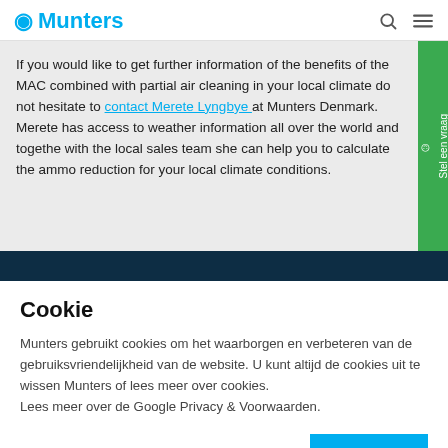Munters
If you would like to get further information of the benefits of the MAC combined with partial air cleaning in your local climate do not hesitate to contact Merete Lyngbye at Munters Denmark. Merete has access to weather information all over the world and together with the local sales team she can help you to calculate the ammo reduction for your local climate conditions.
Cookie
Munters gebruikt cookies om het waarborgen en verbeteren van de gebruiksvriendelijkheid van de website. U kunt altijd de cookies uit te wissen Munters of lees meer over cookies.
Lees meer over de Google Privacy & Voorwaarden.
Sluiten